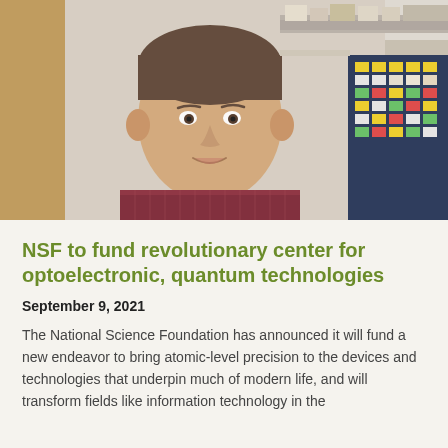[Figure (photo): A smiling middle-aged man in a maroon checkered shirt in a laboratory setting with shelves containing boxes and a dark blue cabinet with colored labels in the background.]
NSF to fund revolutionary center for optoelectronic, quantum technologies
September 9, 2021
The National Science Foundation has announced it will fund a new endeavor to bring atomic-level precision to the devices and technologies that underpin much of modern life, and will transform fields like information technology in the